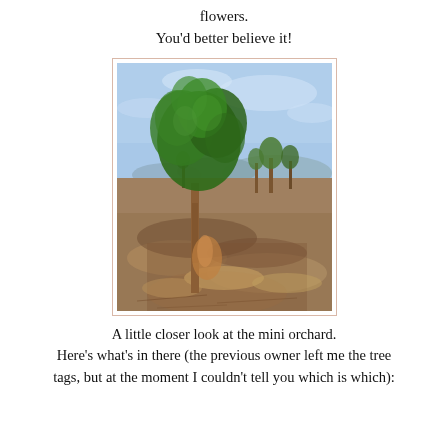flowers.
You'd better believe it!
[Figure (photo): Outdoor photo of a small orchard with a young leafy tree in the foreground, several smaller trees in the background, dry grass and brown soil on the ground, blue sky with light clouds.]
A little closer look at the mini orchard.
Here's what's in there (the previous owner left me the tree tags, but at the moment I couldn't tell you which is which):